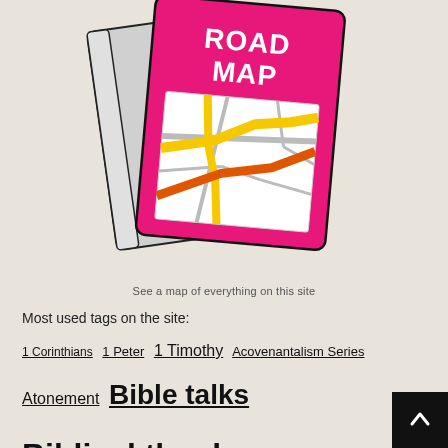[Figure (illustration): Illustration of a pink road map booklet with yellow and orange road lines on a white map panel, and text 'ROAD MAP' in white on the pink cover. The booklet is slightly angled, showing the spine on the left.]
See a map of everything on this site
Most used tags on the site:
1 Corinthians  1 Peter  1 Timothy  Acovenantalism Series  Atonement  Bible talks  Biblical theology  Christian living  Church  Church History  Covenant  covid-19  Conti...